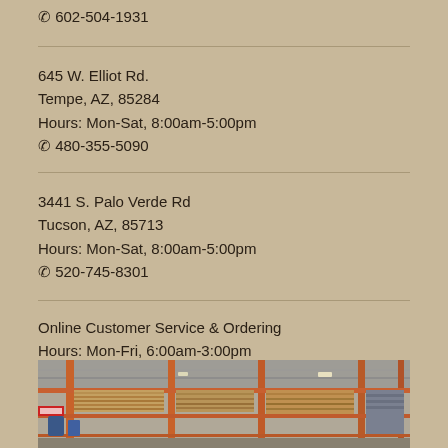☎ 602-504-1931
645 W. Elliot Rd.
Tempe, AZ, 85284
Hours: Mon-Sat, 8:00am-5:00pm
☎ 480-355-5090
3441 S. Palo Verde Rd
Tucson, AZ, 85713
Hours: Mon-Sat, 8:00am-5:00pm
☎ 520-745-8301
Online Customer Service & Ordering
Hours: Mon-Fri, 6:00am-3:00pm
☎ 800-423-2450
[Figure (photo): Interior of a building materials warehouse showing stacked lumber and supplies on orange metal shelving racks with industrial ceiling visible]